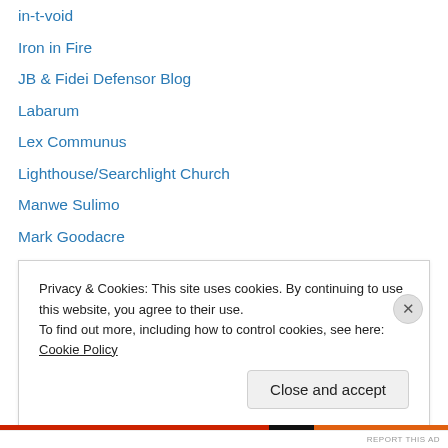in-t-void
Iron in Fire
JB & Fidei Defensor Blog
Labarum
Lex Communus
Lighthouse/Searchlight Church
Manwe Sulimo
Mark Goodacre
Near Emmaus
One Heart At A Time
Pastor Fred Wolfe Ministries
Paul Copan
Perissos online
Privacy & Cookies: This site uses cookies. By continuing to use this website, you agree to their use.
To find out more, including how to control cookies, see here: Cookie Policy
Close and accept